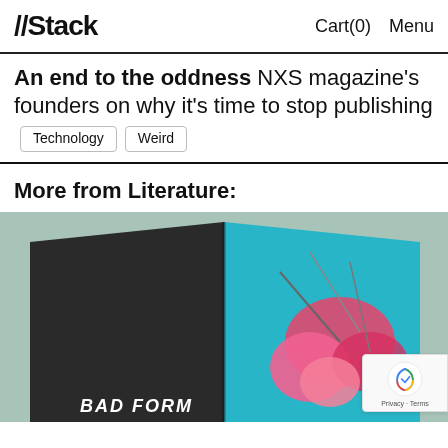//Stack   Cart(0)   Menu
An end to the oddness NXS magazine's founders on why it's time to stop publishing   Technology   Weird
More from Literature:
[Figure (photo): Open magazine spread showing dark left page and colorful floral illustration on right page, reading 'BAD FORM' at bottom. Mint green background.]